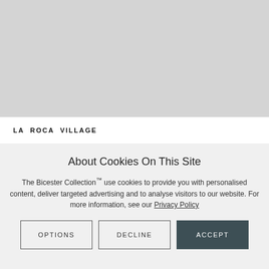[Figure (photo): Gray placeholder image area representing a photo of La Roca Village]
LA ROCA VILLAGE
About Cookies On This Site
The Bicester Collection™ use cookies to provide you with personalised content, deliver targeted advertising and to analyse visitors to our website. For more information, see our Privacy Policy
OPTIONS
DECLINE
ACCEPT